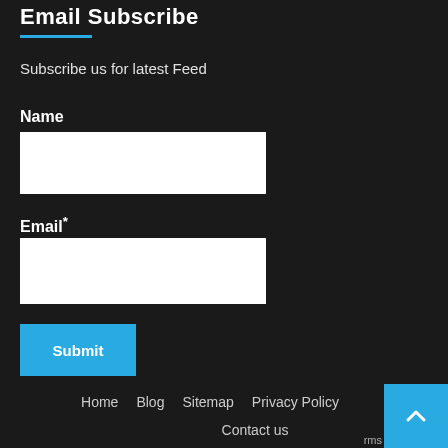Email Subscribe
Subscribe us for latest Feed
Name
Email*
Submit
Home    Blog    Sitemap    Privacy Policy
Contact us